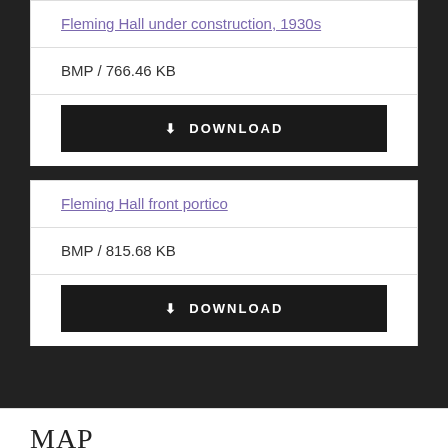Fleming Hall under construction, 1930s
BMP / 766.46 KB
DOWNLOAD
Fleming Hall front portico
BMP / 815.68 KB
DOWNLOAD
MAP